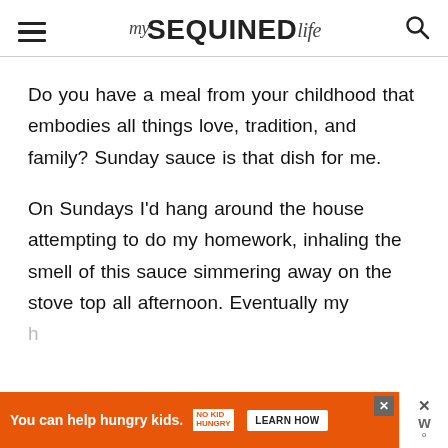my SEQUINED life
Do you have a meal from your childhood that embodies all things love, tradition, and family? Sunday sauce is that dish for me.
On Sundays I'd hang around the house attempting to do my homework, inhaling the smell of this sauce simmering away on the stove top all afternoon. Eventually my h[obscured by ad]
[Figure (other): Orange advertisement banner: You can help hungry kids. No Kid Hungry logo. LEARN HOW button. Close X button. WeatherBug widget overlay on right.]